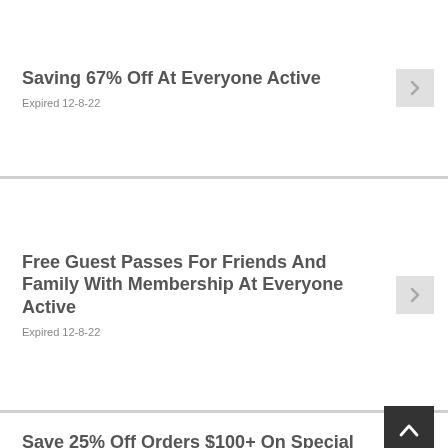Saving 67% Off At Everyone Active
Expired 12-8-22
Free Guest Passes For Friends And Family With Membership At Everyone Active
Expired 12-8-22
Save 25% Off Orders $100+ On Special Off At Everyone Active
Expired 20-7-22